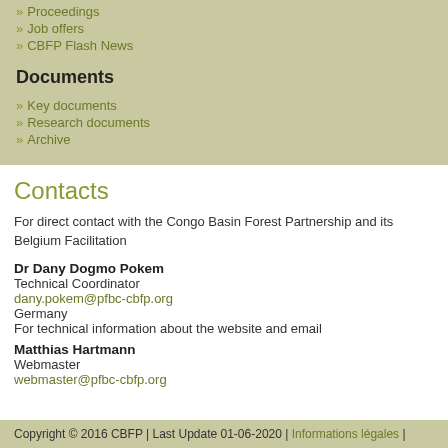Proceedings
Job offers
CBFP Flash News
Documents
Key documents
Research documents
Archive
Contacts
For direct contact with the Congo Basin Forest Partnership and its Belgium Facilitation
Dr Dany Dogmo Pokem
Technical Coordinator
dany.pokem@pfbc-cbfp.org
Germany
For technical information about the website and email
Matthias Hartmann
Webmaster
webmaster@pfbc-cbfp.org
Copyright © 2016 CBFP | Last Update 01-06-2020 | Informations légales |